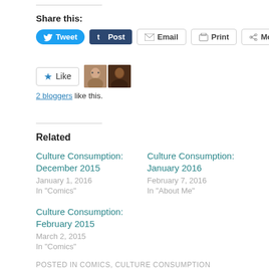Share this:
[Figure (screenshot): Social sharing buttons: Tweet (blue pill), Post (dark blue), Email, Print, More (outlined)]
[Figure (screenshot): Like button with star icon, two blogger avatars, text: 2 bloggers like this.]
Related
Culture Consumption: December 2015 — January 1, 2016 — In "Comics"
Culture Consumption: January 2016 — February 7, 2016 — In "About Me"
Culture Consumption: February 2015 — March 2, 2015 — In "Comics"
POSTED IN COMICS, CULTURE CONSUMPTION